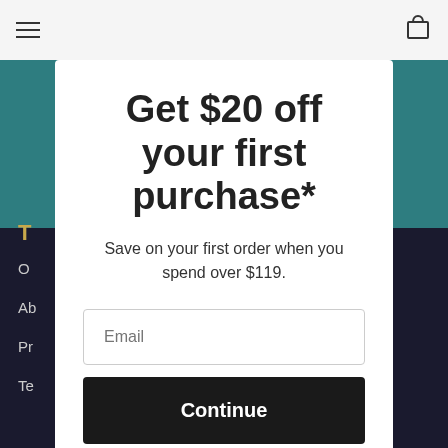Get $20 off your first purchase*
Save on your first order when you spend over $119.
Email
Continue